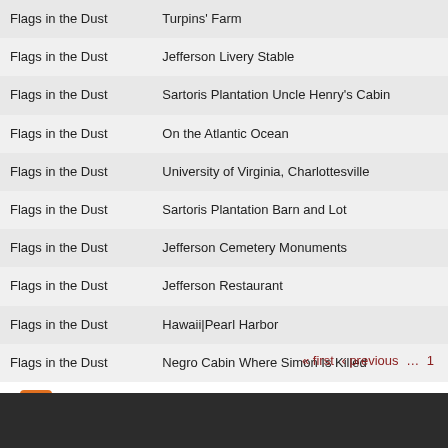| Book | Location |
| --- | --- |
| Flags in the Dust | Turpins' Farm |
| Flags in the Dust | Jefferson Livery Stable |
| Flags in the Dust | Sartoris Plantation Uncle Henry's Cabin |
| Flags in the Dust | On the Atlantic Ocean |
| Flags in the Dust | University of Virginia, Charlottesville |
| Flags in the Dust | Sartoris Plantation Barn and Lot |
| Flags in the Dust | Jefferson Cemetery Monuments |
| Flags in the Dust | Jefferson Restaurant |
| Flags in the Dust | Hawaii|Pearl Harbor |
| Flags in the Dust | Negro Cabin Where Simon Is Killed |
« first ‹ previous … 1
[Figure (other): RSS feed icon (orange square with white wifi-style signal arcs)]